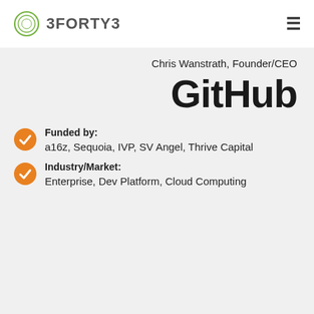[Figure (logo): 3FORTY3 logo with green circular icon and gray text]
Chris Wanstrath, Founder/CEO
GitHub
Funded by: a16z, Sequoia, IVP, SV Angel, Thrive Capital
Industry/Market: Enterprise, Dev Platform, Cloud Computing